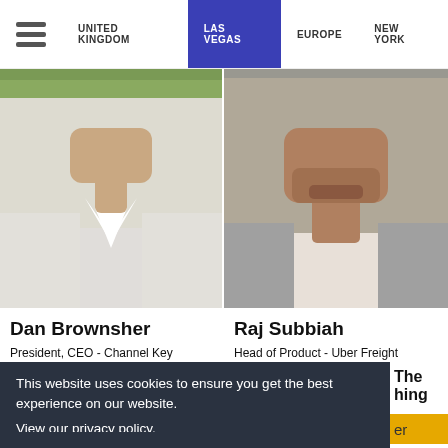UNITED KINGDOM | LAS VEGAS | EUROPE | NEW YORK
[Figure (photo): Partial photo of Dan Brownsher, showing torso in white shirt, cropped above head]
[Figure (photo): Partial photo of Raj Subbiah, showing face from nose down, wearing grey jacket]
Dan Brownsher
President, CEO - Channel Key
Raj Subbiah
Head of Product - Uber Freight
This website uses cookies to ensure you get the best experience on our website.
View our privacy policy.
Got it!